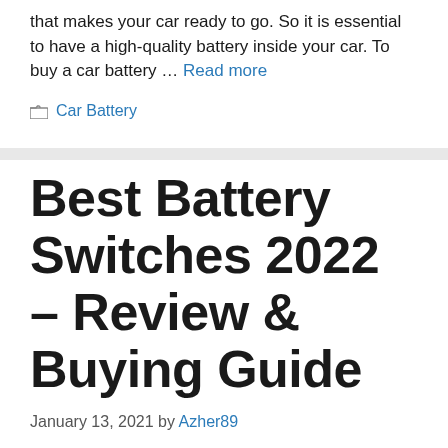that makes your car ready to go. So it is essential to have a high-quality battery inside your car. To buy a car battery … Read more
Car Battery
Best Battery Switches 2022 – Review & Buying Guide
January 13, 2021 by Azher89